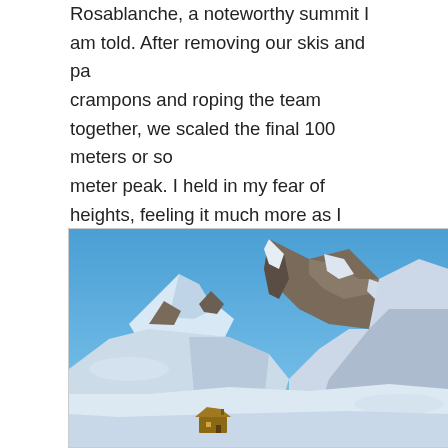Rosablanche, a noteworthy summit I am told. After removing our skis and putting on crampons and roping the team together, we scaled the final 100 meters or so of the meter peak. I held in my fear of heights, feeling it much more as I slowly drop the top. Then, after about 700 meters of total elevation gain on the day, we fi beautiful descent to the Prafleuri hut (Cabane Prafleuri).
[Figure (photo): Mountain landscape photo showing snow-covered Alpine peaks with rocky outcrops under a clear blue sky. A small building (hut) is visible at the lower portion of the image at the base of the snowy slopes.]